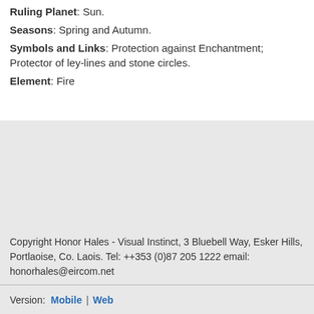Ruling Planet: Sun.
Seasons: Spring and Autumn.
Symbols and Links: Protection against Enchantment; Protector of ley-lines and stone circles.
Element: Fire
Copyright Honor Hales - Visual Instinct, 3 Bluebell Way, Esker Hills, Portlaoise, Co. Laois. Tel: ++353 (0)87 205 1222 email: honorhales@eircom.net
Version: Mobile | Web